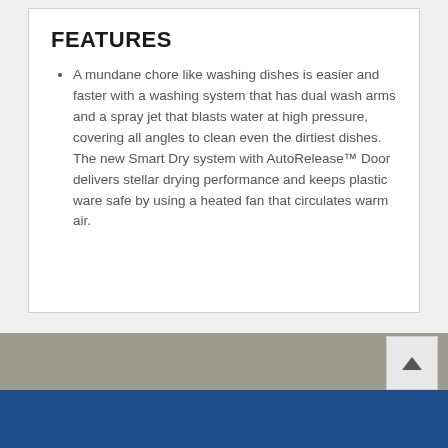FEATURES
A mundane chore like washing dishes is easier and faster with a washing system that has dual wash arms and a spray jet that blasts water at high pressure, covering all angles to clean even the dirtiest dishes. The new Smart Dry system with AutoRelease™ Door delivers stellar drying performance and keeps plastic ware safe by using a heated fan that circulates warm air.